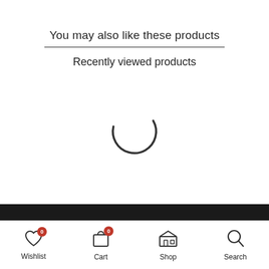You may also like these products
Recently viewed products
[Figure (other): Loading spinner (arc/circle indicator) showing content is loading]
[Figure (other): Dark background section with red arc at bottom navigation area]
Wishlist 0 | Cart 0 | Shop | Search